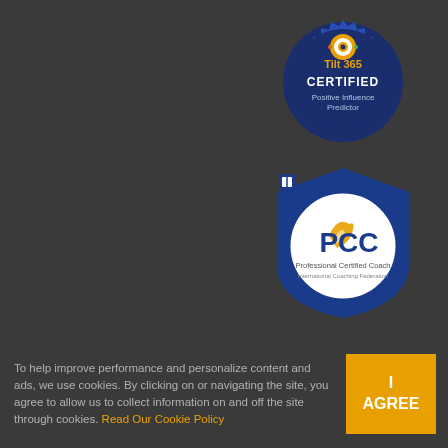[Figure (logo): Tilt365 Certified Positive Influence Predictor badge - circular navy/gold badge with colorful target icon]
[Figure (logo): PCC Professional Certified Coach badge from International Coaching Federation - blue shield with white circle containing orange feather/flame PCC logo]
[Figure (logo): NSA National Speakers Association Professional Speaker Proud Member badge - black circular badge with white text]
To help improve performance and personalize content and ads, we use cookies. By clicking on or navigating the site, you agree to allow us to collect information on and off the site through cookies. Read Our Cookie Policy
I AGREE